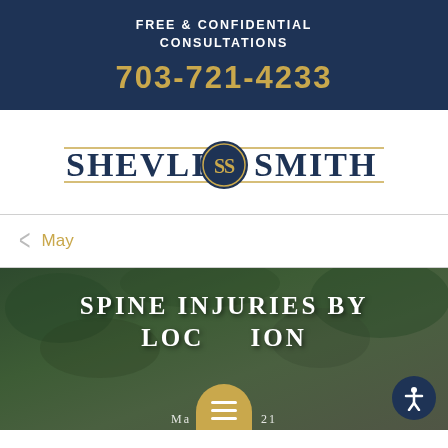FREE & CONFIDENTIAL CONSULTATIONS
703-721-4233
[Figure (logo): Shevlin Smith law firm logo with decorative SS monogram medallion and gold horizontal lines]
May
[Figure (photo): Background photo of vehicle/auto scene with dark green overlay, showing text 'SPINE INJURIES BY LOCATION' in large white serif uppercase letters, with a gold menu button and accessibility icon button]
SPINE INJURIES BY LOCATION